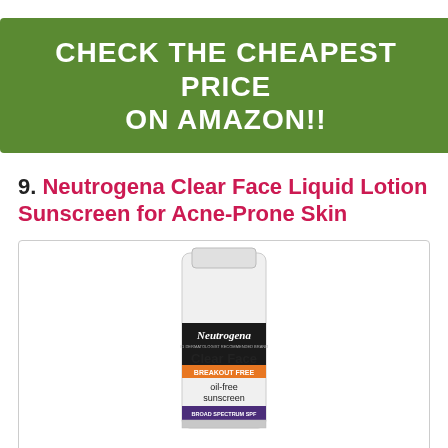CHECK THE CHEAPEST PRICE ON AMAZON!!
9. Neutrogena Clear Face Liquid Lotion Sunscreen for Acne-Prone Skin
[Figure (photo): Neutrogena Clear Face Breakout Free oil-free sunscreen tube product photo showing the white tube with black label area reading 'Neutrogena', '#1 dermatologist recommended brand', 'Clear Face', 'BREAKOUT FREE', 'oil-free sunscreen', 'BROAD SPECTRUM SPF']